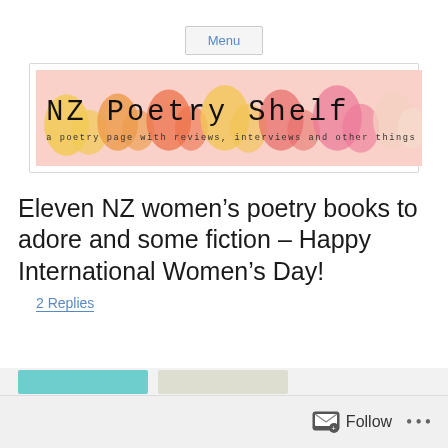Menu
[Figure (illustration): NZ Poetry Shelf banner logo with colorful watercolor silhouettes of women's profiles in yellow, orange, red, and pink. Text reads 'NZ Poetry Shelf' and 'a poetry page with reviews, interviews and other things']
Eleven NZ women’s poetry books to adore and some fiction – Happy International Women’s Day!
2 Replies
Follow ...